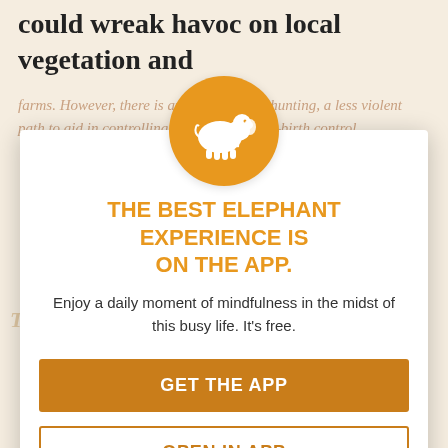could wreak havoc on local vegetation and
farms. However, there is an alternative to hunting, a less violent path to aid in controlling deer population—birth control.
[Figure (illustration): Orange circle with white elephant silhouette logo for the Elephant app]
THE BEST ELEPHANT EXPERIENCE IS ON THE APP.
Enjoy a daily moment of mindfulness in the midst of this busy life. It's free.
GET THE APP
OPEN IN APP